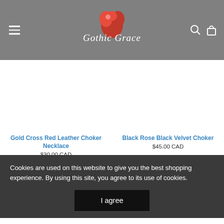You may also like
[Figure (logo): Gothic Grace logo — cursive white script with a red rose/heart graphic in the center, on a grey navigation bar]
Gold Cross Red Leather Choker Necklace
$30.00 CAD
Black Rose Black Velvet Choker
$45.00 CAD
Cookies are used on this website to give you the best shopping experience. By using this site, you agree to its use of cookies.
I agree